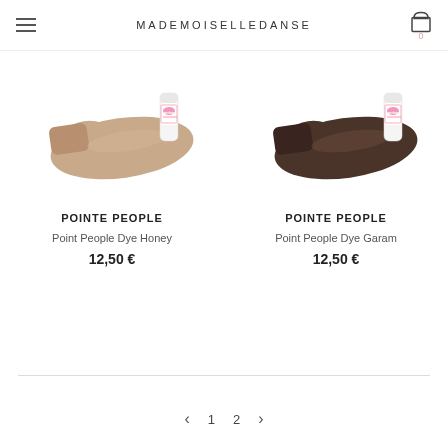MADEMOISELLEDANSE
[Figure (photo): Ballet pointe shoe in honey/nude color with a Pointe People dye product bottle]
POINTE PEOPLE
Point People Dye Honey
12,50 €
[Figure (photo): Ballet pointe shoe in dark brown/garam color with a Pointe People dye product bottle]
POINTE PEOPLE
Point People Dye Garam
12,50 €
1 2